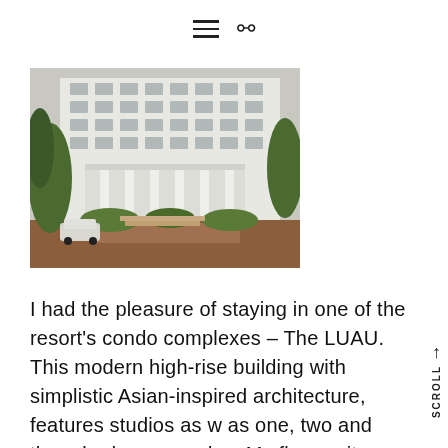≡ 🔍
[Figure (photo): Exterior photo of a large white colonial-style high-rise building with columns and balconies, surrounded by tropical trees and a brick walkway. A white car is parked at the entrance.]
I had the pleasure of staying in one of the resort's condo complexes – The LUAU. This modern high-rise building with simplistic Asian-inspired architecture, features studios as w as one, two and three bedroom condos. My floor unit was dreamy. Feeling right at hom